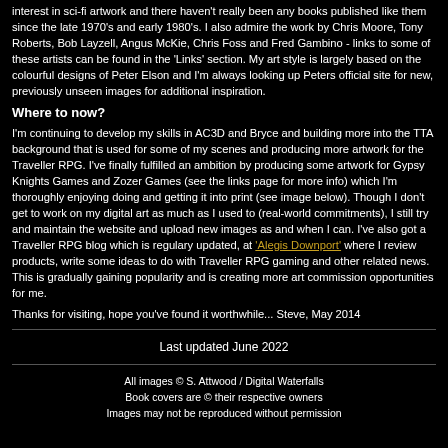interest in sci-fi artwork and there haven't really been any books published like them since the late 1970's and early 1980's. I also admire the work by Chris Moore, Tony Roberts, Bob Layzell, Angus McKie, Chris Foss and Fred Gambino - links to some of these artists can be found in the 'Links' section. My art style is largely based on the colourful designs of Peter Elson and I'm always looking up Peters official site for new, previously unseen images for additional inspiration.
Where to now?
I'm continuing to develop my skills in AC3D and Bryce and building more into the TTA background that is used for some of my scenes and producing more artwork for the Traveller RPG. I've finally fulfilled an ambition by producing some artwork for Gypsy Knights Games and Zozer Games (see the links page for more info) which I'm thoroughly enjoying doing and getting it into print (see image below). Though I don't get to work on my digital art as much as I used to (real-world commitments), I still try and maintain the website and upload new images as and when I can. I've also got a Traveller RPG blog which is regulary updated, at 'Alegis Downport' where I review products, write some ideas to do with Traveller RPG gaming and other related news. This is gradually gaining popularity and is creating more art commission opportunities for me.
Thanks for visiting, hope you've found it worthwhile... Steve, May 2014
Last updated June 2022
All images © S. Attwood / Digital Waterfalls
Book covers are © their respective owners
Images may not be reproduced without permission